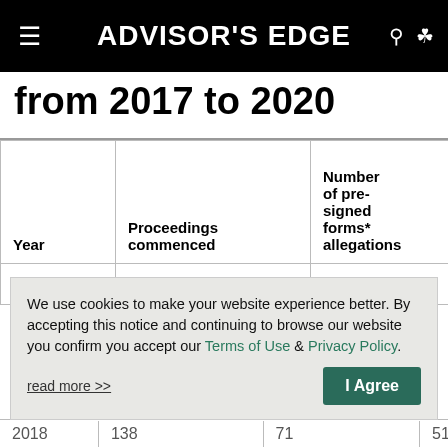ADVISOR'S EDGE
from 2017 to 2020
| Year | Proceedings commenced | Number of pre-signed forms* allegations | Pre-signed forms allegations as % of proceedings commenced |
| --- | --- | --- | --- |
| 2017 | 121 | 56 | 46% |
| 2018 | 138 | 71 | 51% |
We use cookies to make your website experience better. By accepting this notice and continuing to browse our website you confirm you accept our Terms of Use & Privacy Policy.
read more >>